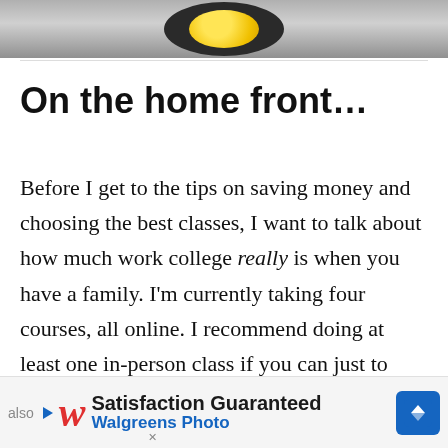[Figure (photo): Cropped photo at top showing a plate with a fried egg on a dark surface, gray background]
On the home front…
Before I get to the tips on saving money and choosing the best classes, I want to talk about how much work college really is when you have a family. I'm currently taking four courses, all online. I recommend doing at least one in-person class if you can just to break it all up and also
[Figure (other): Walgreens Photo advertisement banner at bottom: Satisfaction Guaranteed, Walgreens Photo with logo and blue diamond navigation icon]